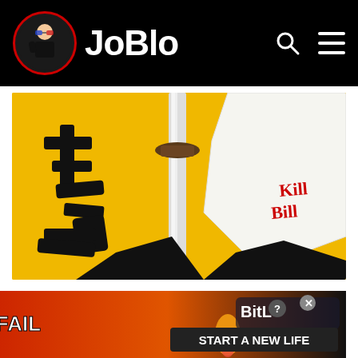JoBlo
[Figure (photo): Kill Bill: Volume 1 movie poster featuring a samurai sword (katana) against a bright yellow background with black Japanese characters and a white cloth with 'Kill Bill' text]
Kill Bill: Volume I
Runner-Up: Big Fish
The nominees were...
Kill B...
Big F...
[Figure (screenshot): BitLife advertisement banner with 'FAIL' text, cartoon blonde woman, fire emoji, and 'START A NEW LIFE' text on dark background]